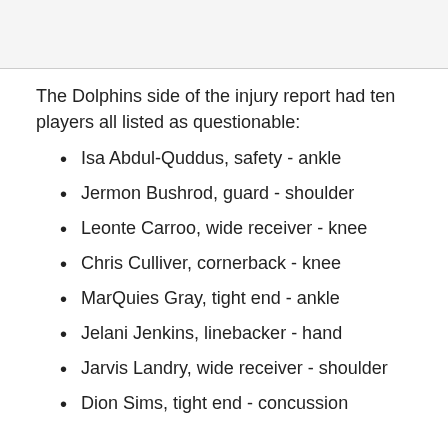[Figure (other): Top image area placeholder (gray/white box)]
The Dolphins side of the injury report had ten players all listed as questionable:
Isa Abdul-Quddus, safety - ankle
Jermon Bushrod, guard - shoulder
Leonte Carroo, wide receiver - knee
Chris Culliver, cornerback - knee
MarQuies Gray, tight end - ankle
Jelani Jenkins, linebacker - hand
Jarvis Landry, wide receiver - shoulder
Dion Sims, tight end - concussion